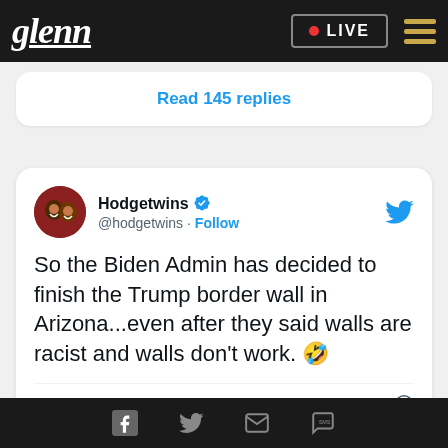glenn  • LIVE
Read 145 replies
[Figure (screenshot): Tweet from @hodgetwins (Hodgetwins, verified) with Twitter bird logo, avatar photo, Follow link. Tweet text: So the Biden Admin has decided to finish the Trump border wall in Arizona...even after they said walls are racist and walls don't work. 🤣. Timestamp: 11:35 AM · Jul 29, 2022. Engagement: 19.8K likes, Reply, Copy link to Tweet.]
Facebook  Twitter  Email  SMS